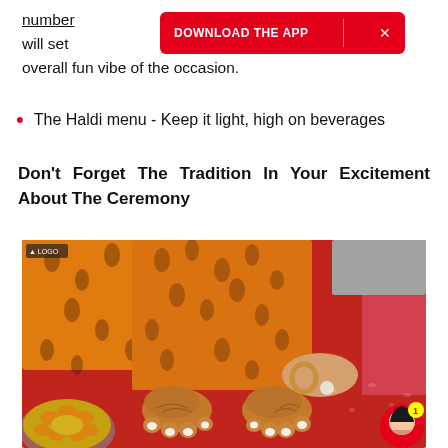number ... nt. These will set ... dd to the overall fun vibe of the occasion.
The Haldi menu - Keep it light, high on beverages
Don't Forget The Tradition In Your Excitement About The Ceremony
[Figure (photo): Close-up photo of a bride's feet in orange patterned fabric (haldi ceremony), with henna-decorated hands and feet on a red surface, with a bowl of yellow flowers/turmeric in the lower left. A small chat/notification icon (1) appears in the lower right.]